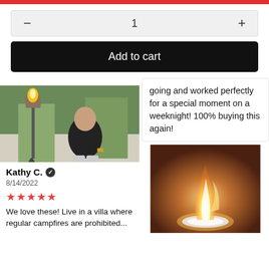- 1 +
Add to cart
[Figure (photo): Person sitting outdoors near a tall torch/fire pit on a patio with greenery in background]
Kathy C. ✓
8/14/2022
★★★★★
We love these! Live in a villa where regular campfires are prohibited...
going and worked perfectly for a special moment on a weeknight! 100% buying this again!
[Figure (photo): Close-up of a burning flame/fire torch on a surface with warm orange glow background]